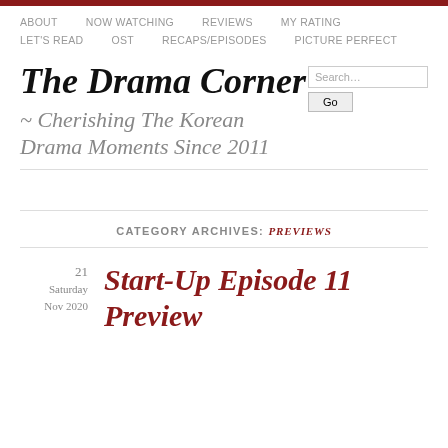ABOUT  NOW WATCHING  REVIEWS  MY RATING  LET'S READ  OST  RECAPS/EPISODES  PICTURE PERFECT
The Drama Corner
~ Cherishing The Korean Drama Moments Since 2011
CATEGORY ARCHIVES: PREVIEWS
21 Saturday Nov 2020
Start-Up Episode 11 Preview